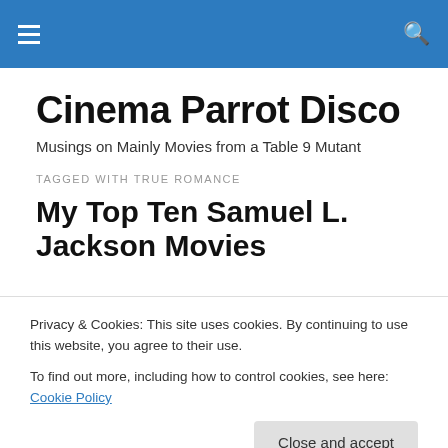Cinema Parrot Disco — navigation header bar
Cinema Parrot Disco
Musings on Mainly Movies from a Table 9 Mutant
TAGGED WITH TRUE ROMANCE
My Top Ten Samuel L. Jackson Movies
Privacy & Cookies: This site uses cookies. By continuing to use this website, you agree to their use.
To find out more, including how to control cookies, see here: Cookie Policy
Close and accept